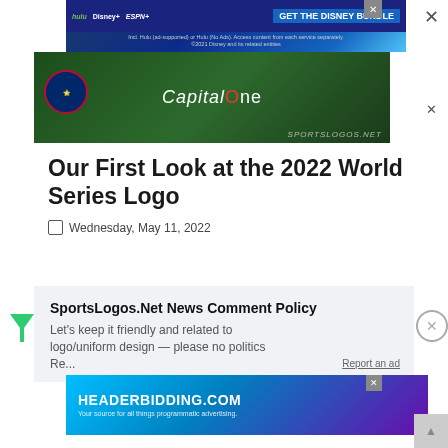[Figure (screenshot): Disney Bundle advertisement banner with Hulu, Disney+, ESPN+ logos and 'GET THE DISNEY BUNDLE' call to action]
[Figure (screenshot): Capital One sponsored SportsLogos.Net advertisement with dark green background and Capital One logo]
Our First Look at the 2022 World Series Logo
Wednesday, May 11, 2022
SportsLogos.Net News Comment Policy
Let's keep it friendly and related to logo/uniform design — please no politics Re...
[Figure (screenshot): HEADERBIDDING.COM advertisement - Your source for all things programmatic advertising]